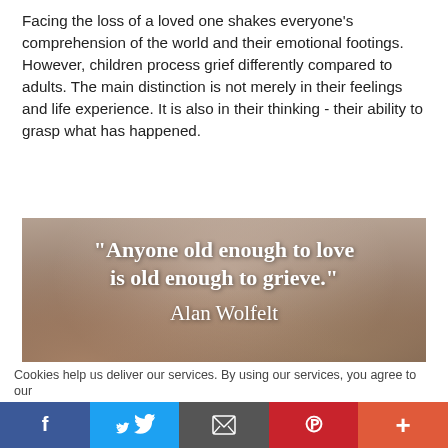Facing the loss of a loved one shakes everyone's comprehension of the world and their emotional footings. However, children process grief differently compared to adults. The main distinction is not merely in their feelings and life experience. It is also in their thinking - their ability to grasp what has happened.
[Figure (photo): Blurred winter background photo with white overlaid quote text reading: "Anyone old enough to love is old enough to grieve." Alan Wolfelt]
Cookies help us deliver our services. By using our services, you agree to our
[Figure (infographic): Social media sharing bar with Facebook, Twitter, email, Pinterest, and more buttons]